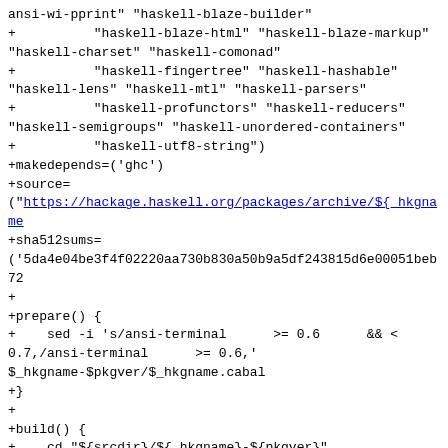ansi-wi-pprint" "haskell-blaze-builder"
+          "haskell-blaze-html" "haskell-blaze-markup"
"haskell-charset" "haskell-comonad"
+          "haskell-fingertree" "haskell-hashable"
"haskell-lens" "haskell-mtl" "haskell-parsers"
+          "haskell-profunctors" "haskell-reducers"
"haskell-semigroups" "haskell-unordered-containers"
+          "haskell-utf8-string")
+makedepends=('ghc')
+source=
("https://hackage.haskell.org/packages/archive/${_hkgname
+sha512sums=
('5da4e04be3f4f02220aa730b830a50b9a5df243815d6e00051beb72
+
+prepare() {
+    sed -i 's/ansi-terminal      >= 0.6      && <
0.7,/ansi-terminal      >= 0.6,'
$_hkgname-$pkgver/$_hkgname.cabal
+}
+
+build() {
+    cd "${srcdir}/${_hkgname}-${pkgver}"
+
+    runhaskell Setup configure -O --enable-shared --enable-executable-dynamic --disable-library-vanilla \
+          --prefix=/usr --docdir="/usr/share/doc/${pkgname}" \
+          --dynlibdir=/usr/lib --libsubdir=\$compiler/site-local/\$pkgid
+    runhaskell Setup build